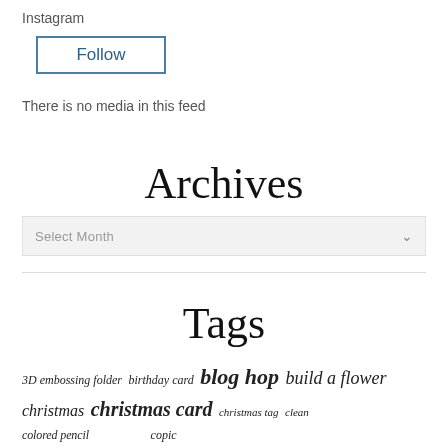Instagram
Follow
There is no media in this feed
Archives
Select Month
Tags
3D embossing folder  birthday card  blog hop  build a flower  christmas  christmas card  christmas tag  clean colored pencil  copic